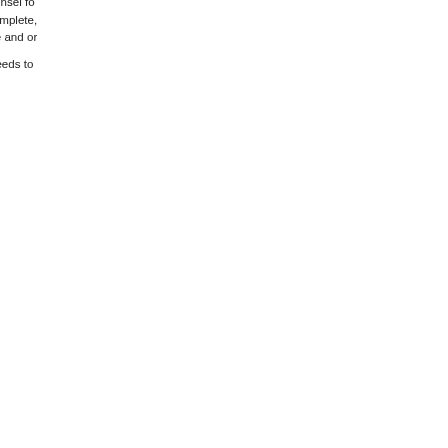[Figure (photo): Avatar image with blue/white abstract web pattern]
P&P. "Which holiday shall we
The defense counsel respons
[Figure (photo): Dark avatar image with figure and text 'FUCK YOU']
Davod
I don't know man, John Brow getting the death penalty. The and people who kill cops and
Posted
[Figure (photo): Avatar image of person in festive military-style outfit with sunglasses]
Does the defense counsel fo Seems to me, task complete, dug your cellar on site and or
Our click bait world needs to salt.
[Figure (photo): Small avatar image at bottom, blue/white pattern similar to first]